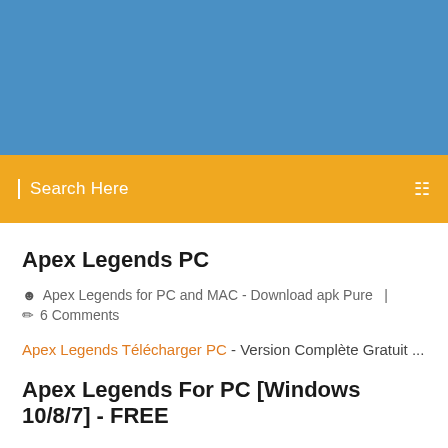[Figure (other): Blue banner header background]
Search Here
Apex Legends PC
Apex Legends for PC and MAC - Download apk Pure  |  6 Comments
Apex Legends Télécharger PC - Version Complète Gratuit ...
Apex Legends For PC [Windows 10/8/7] - FREE